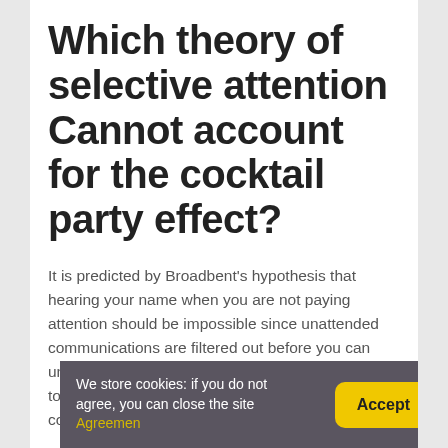Which theory of selective attention Cannot account for the cocktail party effect?
It is predicted by Broadbent's hypothesis that hearing your name when you are not paying attention should be impossible since unattended communications are filtered out before you can understand the meaning – so the model is unable to explain how people hear their names during a cocktail party.
Wh...
We store cookies: if you do not agree, you can close the site Agreemen  Accept